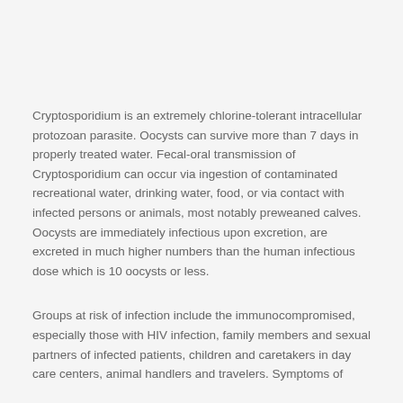Cryptosporidium is an extremely chlorine-tolerant intracellular protozoan parasite. Oocysts can survive more than 7 days in properly treated water. Fecal-oral transmission of Cryptosporidium can occur via ingestion of contaminated recreational water, drinking water, food, or via contact with infected persons or animals, most notably preweaned calves. Oocysts are immediately infectious upon excretion, are excreted in much higher numbers than the human infectious dose which is 10 oocysts or less.
Groups at risk of infection include the immunocompromised, especially those with HIV infection, family members and sexual partners of infected patients, children and caretakers in day care centers, animal handlers and travelers. Symptoms of